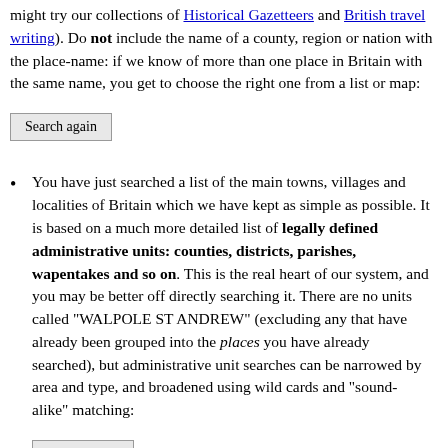might try our collections of Historical Gazetteers and British travel writing). Do not include the name of a county, region or nation with the place-name: if we know of more than one place in Britain with the same name, you get to choose the right one from a list or map:
Search again
You have just searched a list of the main towns, villages and localities of Britain which we have kept as simple as possible. It is based on a much more detailed list of legally defined administrative units: counties, districts, parishes, wapentakes and so on. This is the real heart of our system, and you may be better off directly searching it. There are no units called "WALPOLE ST ANDREW" (excluding any that have already been grouped into the places you have already searched), but administrative unit searches can be narrowed by area and type, and broadened using wild cards and "sound-alike" matching:
Search Units
If you are looking for hills, rivers, castles ... or pretty